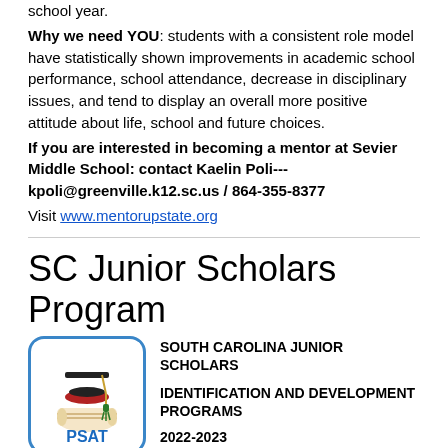school year.
Why we need YOU: students with a consistent role model have statistically shown improvements in academic school performance, school attendance, decrease in disciplinary issues, and tend to display an overall more positive attitude about life, school and future choices.
If you are interested in becoming a mentor at Sevier Middle School: contact Kaelin Poli--- kpoli@greenville.k12.sc.us / 864-355-8377
Visit www.mentorupstate.org
SC Junior Scholars Program
[Figure (logo): South Carolina Junior Scholars PSAT logo — graduation cap and diploma image with blue border, PSAT text in blue at bottom]
SOUTH CAROLINA JUNIOR SCHOLARS
IDENTIFICATION AND DEVELOPMENT PROGRAMS
2022-2023
All 8th grade students have the opportunity to participate in the PSAT/NMSQT test in October. This opportunity is available to both our in-person and GCS Virtual Program students. There is an